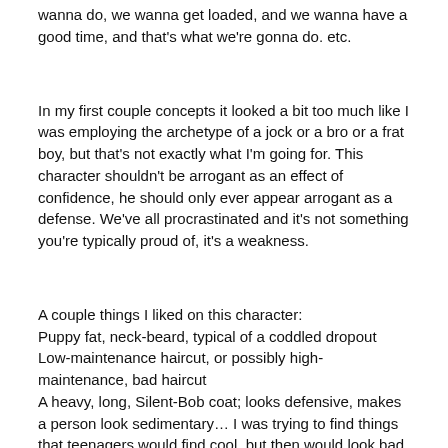wanna do, we wanna get loaded, and we wanna have a good time, and that's what we're gonna do. etc.
In my first couple concepts it looked a bit too much like I was employing the archetype of a jock or a bro or a frat boy, but that's not exactly what I'm going for. This character shouldn't be arrogant as an effect of confidence, he should only ever appear arrogant as a defense. We've all procrastinated and it's not something you're typically proud of, it's a weakness.
A couple things I liked on this character:
Puppy fat, neck-beard, typical of a coddled dropout
Low-maintenance haircut, or possibly high-maintenance, bad haircut
A heavy, long, Silent-Bob coat; looks defensive, makes a person look sedimentary… I was trying to find things that teenagers would find cool, but then would look bad or dumb on an adult. That's why he has that facial hair as well.